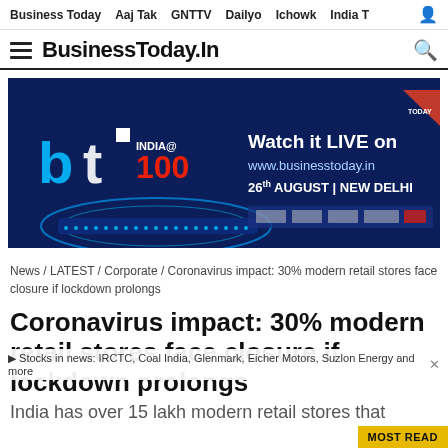Business Today  Aaj Tak  GNTTV  Dailyo  Ichowk  India T
BusinessToday.In
[Figure (screenshot): BusinessToday BT India@100 advertisement banner. Text: Watch it LIVE on www.businesstoday.in  26th AUGUST | NEW DELHI. Dark blue background with BT logo and stage imagery.]
News / LATEST / Corporate / Coronavirus impact: 30% modern retail stores face closure if lockdown prolongs
Coronavirus impact: 30% modern retail stores face closure if lockdown prolongs
Stocks in news: IRCTC, Coal India, Glenmark, Eicher Motors, Suzlon Energy and more
India has over 15 lakh modern retail stores that